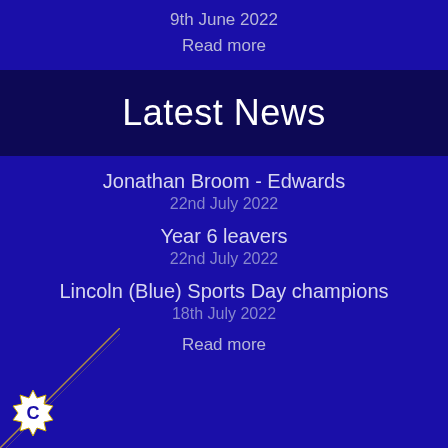9th June 2022
Read more
Latest News
Jonathan Broom - Edwards
22nd July 2022
Year 6 leavers
22nd July 2022
Lincoln (Blue) Sports Day champions
18th July 2022
Read more